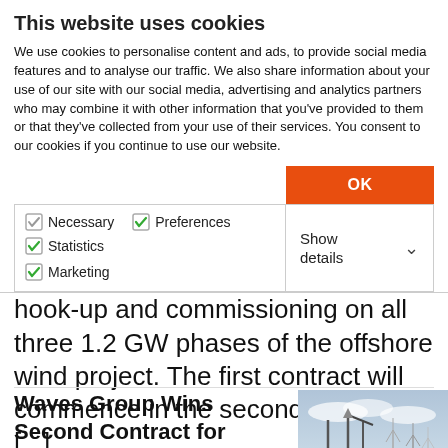This website uses cookies
We use cookies to personalise content and ads, to provide social media features and to analyse our traffic. We also share information about your use of our site with our social media, advertising and analytics partners who may combine it with other information that you've provided to them or that they've collected from your use of their services. You consent to our cookies if you continue to use our website.
OK
Necessary  Preferences  Statistics  Marketing  Show details
support offshore substation platform hook-up and commissioning on all three 1.2 GW phases of the offshore wind project. The first contract will commence in the second quarter of [...]
Waves Group Wins Second Contract for Dogger Bank Wind Farm
[Figure (photo): Photo of offshore wind installation vessel with wind turbines in background]